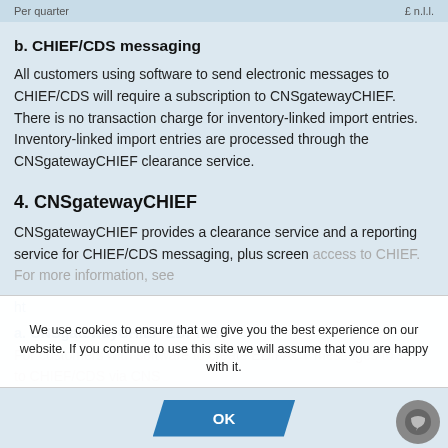Per quarter                                      £ n.l.l.
b. CHIEF/CDS messaging
All customers using software to send electronic messages to CHIEF/CDS will require a subscription to CNSgatewayCHIEF. There is no transaction charge for inventory-linked import entries. Inventory-linked import entries are processed through the CNSgatewayCHIEF clearance service.
4. CNSgatewayCHIEF
CNSgatewayCHIEF provides a clearance service and a reporting service for CHIEF/CDS messaging, plus screen access to CHIEF. For more information, see
ht...
a. CNSgatewayCHIEF EDI Tariff
For customers with software to create EDIFACT messages to send to CHIEF/CDS via CNS
We use cookies to ensure that we give you the best experience on our website. If you continue to use this site we will assume that you are happy with it.
OK